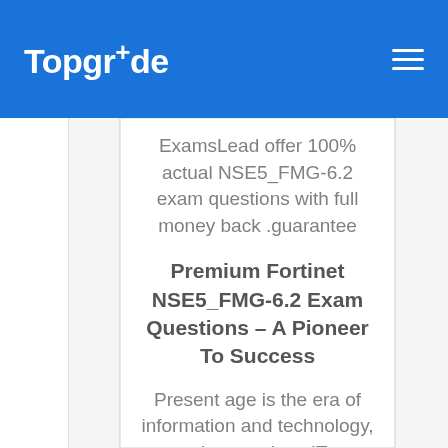TopgrAde
ExamsLead offer 100% actual NSE5_FMG-6.2 exam questions with full money back .guarantee
Premium Fortinet NSE5_FMG-6.2 Exam Questions – A Pioneer To Success
Present age is the era of information and technology, where various IT